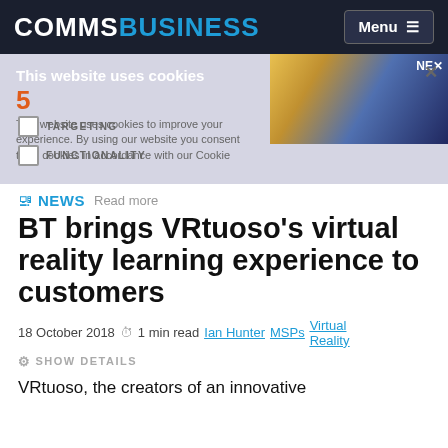COMMSBUSINESS Menu
[Figure (screenshot): Cookie consent overlay with cookie icon and partial advertisement image showing two children on scooters with NEX branding]
NEWS
BT brings VRtuoso's virtual reality learning experience to customers
18 October 2018  1 min read  Ian Hunter  MSPs  Virtual Reality
VRtuoso, the creators of an innovative